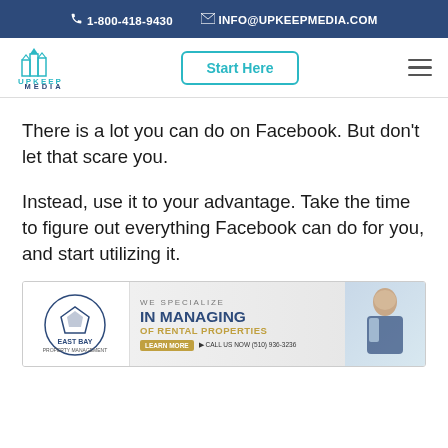1-800-418-9430   INFO@UPKEEPMEDIA.COM
[Figure (logo): Upkeep Media logo with teal building/city icon and text UPKEEP MEDIA]
Start Here
There is a lot you can do on Facebook. But don't let that scare you.
Instead, use it to your advantage. Take the time to figure out everything Facebook can do for you, and start utilizing it.
[Figure (illustration): East Bay Property Management ad banner: logo on left, text 'WE SPECIALIZE IN MANAGING OF RENTAL PROPERTIES' with Learn More button and Call Us Now phone number, woman in business attire on right]